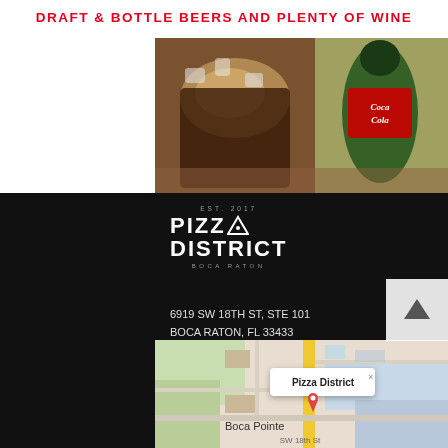DRAFT & BOTTLE BEERS AND PLENTY OF WINE
[Figure (photo): Photo of drinks including a glass with ice and a Coca-Cola bottle on a wooden surface]
[Figure (logo): Pizza District logo with EST. 2017 text and BOCA RATON tagline on black background]
6919 SW 18TH ST, STE 101
BOCA RATON, FL 33433
Mon – Thurs, 11:00am – 10:00pm
Fri – Sat, 11:00am – 10:00pm
Sunday, 12:00pm – 10:00pm
(561) 961-4163
pizzadistrict@hotmail.com
[Figure (map): Google Maps screenshot showing Pizza District location near SW 18th St in Boca Pointe, Boca Raton, FL]